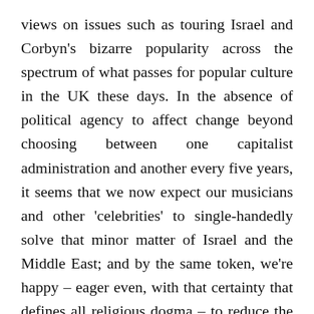views on issues such as touring Israel and Corbyn's bizarre popularity across the spectrum of what passes for popular culture in the UK these days. In the absence of political agency to affect change beyond choosing between one capitalist administration and another every five years, it seems that we now expect our musicians and other 'celebrities' to single-handedly solve that minor matter of Israel and the Middle East; and by the same token, we're happy – eager even, with that certainty that defines all religious dogma – to reduce the complexity of (and barriers to) real political change in this country to the chant of idiot children, to some slof... the sti...